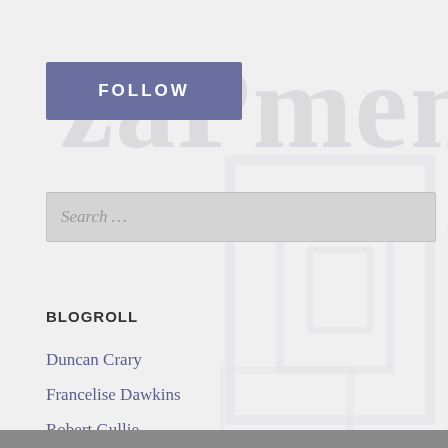[Figure (other): Follow button - blue-purple rectangular button with white text 'FOLLOW']
[Figure (other): Search input field with placeholder text 'Search ...']
BLOGROLL
Duncan Crary
Francelise Dawkins
Robert Gullie
Rock Hill Bakehouse
The Collar City Ramble
The South Troy Arts District
Tripadvisor
Yelp
Zomato